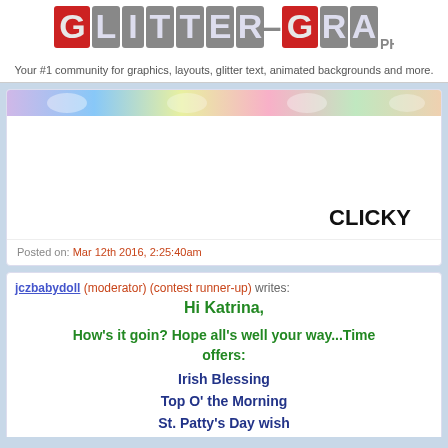[Figure (logo): GLITTER-GRAPHICS.COM logo with gray block letters, G and first G in red blocks]
Your #1 community for graphics, layouts, glitter text, animated backgrounds and more.
[Figure (photo): Partial colorful image strip at top of post card]
CLICKY
Posted on: Mar 12th 2016, 2:25:40am
jczbabydoll (moderator) (contest runner-up) writes:
Hi Katrina,
How's it goin? Hope all's well your way...Time offers:
Irish Blessing
Top O' the Morning
St. Patty's Day wish